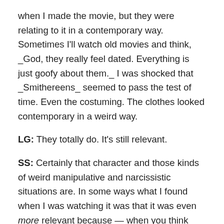when I made the movie, but they were relating to it in a contemporary way. Sometimes I'll watch old movies and think, _God, they really feel dated. Everything is just goofy about them._ I was shocked that _Smithereens_ seemed to pass the test of time. Even the costuming. The clothes looked contemporary in a weird way.
**LG:** They totally do. It's still relevant.
**SS:** Certainly that character and those kinds of weird manipulative and narcissistic situations are. In some ways what I found when I was watching it was that it was even _more_ relevant because — when you think about what she was doing — she was taking selfies and posting them around. She didn't have social media to use, but she wanted people to know who she was and she wanted to be famous for not doing anything but being herself. That seems to be a